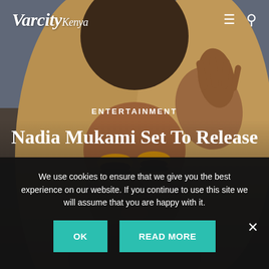[Figure (photo): Woman with blonde hair and gold/yellow eyeshadow, head tilted down, one hand raised near head, against a grey-blue background. Hero image for Varcity Kenya entertainment article.]
VarcityKenya
ENTERTAINMENT
Nadia Mukami Set To Release
We use cookies to ensure that we give you the best experience on our website. If you continue to use this site we will assume that you are happy with it.
OK | READ MORE